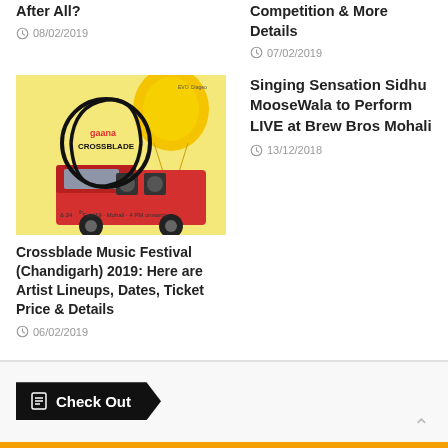After All?
08/02/2019
Competition & More Details
07/02/2019
[Figure (photo): Crossblade Music Festival promotional image with gaana Crossblade logo and colorful truck illustration, text: & 24th Feb/19 · Mohali · 4 PM onwards]
Crossblade Music Festival (Chandigarh) 2019: Here are Artist Lineups, Dates, Ticket Price & Details
06/02/2019
Singing Sensation Sidhu MooseWala to Perform LIVE at Brew Bros Mohali
13/12/2018
Check Out